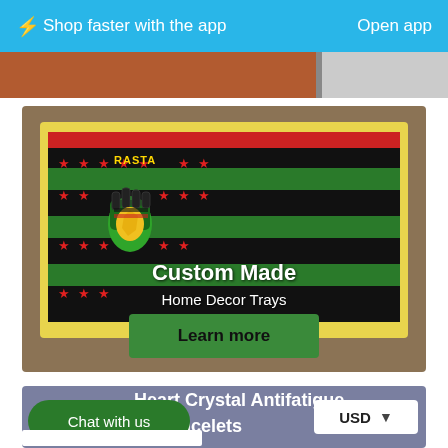⚡Shop faster with the app   Open app
[Figure (photo): Custom made decorative tray with RASTA theme - black background with green stripes, red stripe, yellow border, featuring a raised fist logo with African map and red stars. Text overlays: 'Custom Made' and 'Home Decor Trays' with a green 'Learn more' button.]
Custom Made
Home Decor Trays
Learn more
[Figure (screenshot): Second product card showing partial text: 'Heart Crystal Antifatigue' and 'nd Bracelets' with USD currency selector dropdown]
Heart Crystal Antifatigue
nd Bracelets
USD
Chat with us